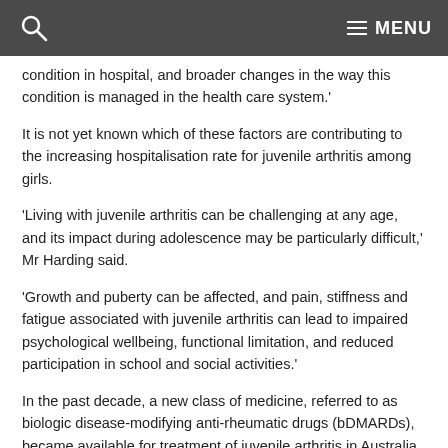MENU
condition in hospital, and broader changes in the way this condition is managed in the health care system.'
It is not yet known which of these factors are contributing to the increasing hospitalisation rate for juvenile arthritis among girls.
'Living with juvenile arthritis can be challenging at any age, and its impact during adolescence may be particularly difficult,' Mr Harding said.
'Growth and puberty can be affected, and pain, stiffness and fatigue associated with juvenile arthritis can lead to impaired psychological wellbeing, functional limitation, and reduced participation in school and social activities.'
In the past decade, a new class of medicine, referred to as biologic disease-modifying anti-rheumatic drugs (bDMARDs), became available for treatment of juvenile arthritis in Australia, broadening the treatment options.